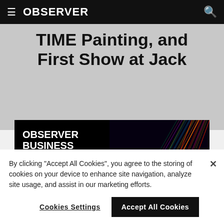OBSERVER
TIME Painting, and First Show at Jack
[Figure (screenshot): Observer Business newsletter modal popup over dark background with colorful light streaks. Contains 'OBSERVER BUSINESS' heading, 'Don't miss an opportunity. Get the Observer sent directly to your inbox.' tagline, email address input field, and Sign Up button.]
By clicking “Accept All Cookies”, you agree to the storing of cookies on your device to enhance site navigation, analyze site usage, and assist in our marketing efforts.
Cookies Settings     Accept All Cookies